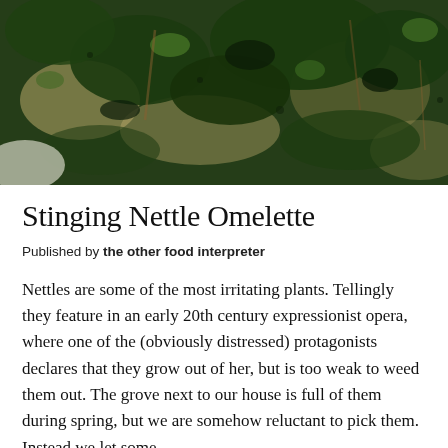[Figure (photo): Close-up photo of a stinging nettle omelette, showing dark green cooked nettles mixed with egg on a white plate.]
Stinging Nettle Omelette
Published by the other food interpreter
Nettles are some of the most irritating plants. Tellingly they feature in an early 20th century expressionist opera, where one of the (obviously distressed) protagonists declares that they grow out of her, but is too weak to weed them out. The grove next to our house is full of them during spring, but we are somehow reluctant to pick them. Instead we let some